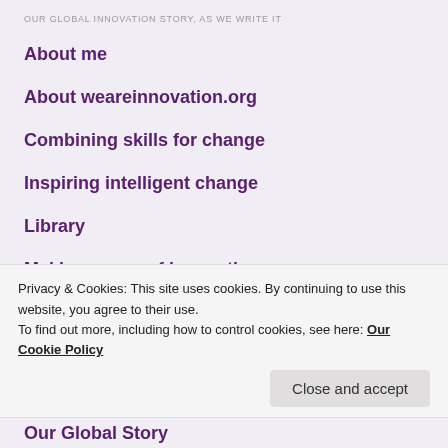OUR GLOBAL INNOVATION STORY, AS WE WRITE IT
About me
About weareinnovation.org
Combining skills for change
Inspiring intelligent change
Library
Making sense of innovation
Privacy & Cookies: This site uses cookies. By continuing to use this website, you agree to their use.
To find out more, including how to control cookies, see here: Our Cookie Policy
Our Global Story